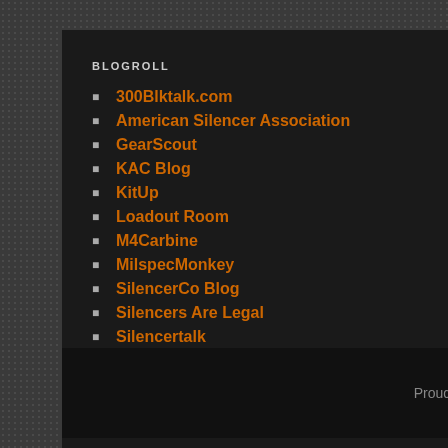BLOGROLL
300Blktalk.com
American Silencer Association
GearScout
KAC Blog
KitUp
Loadout Room
M4Carbine
MilspecMonkey
SilencerCo Blog
Silencers Are Legal
Silencertalk
Proudly powered by WordPress